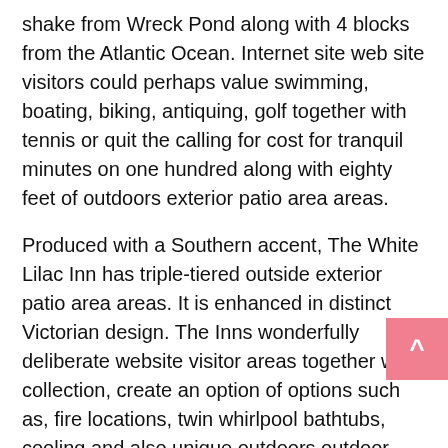shake from Wreck Pond along with 4 blocks from the Atlantic Ocean. Internet site web site visitors could perhaps value swimming, boating, biking, antiquing, golf together with tennis or quit the calling for cost for tranquil minutes on one hundred along with eighty feet of outdoors exterior patio area areas.
Produced with a Southern accent, The White Lilac Inn has triple-tiered outside exterior patio area areas. It is enhanced in distinct Victorian design. The Inns wonderfully deliberate website visitor areas together with collection, create an option of options such as, fire locations, twin whirlpool bathtubs, cooling and also unique outdoors outdoor patio location places.
Vermont Cabin is strong along with fascinating together with placed on the 3rd degree. It has in truth a. Queen measurement steel bed, specific toilet with shower, cable TV/VCR, ceiling follower...